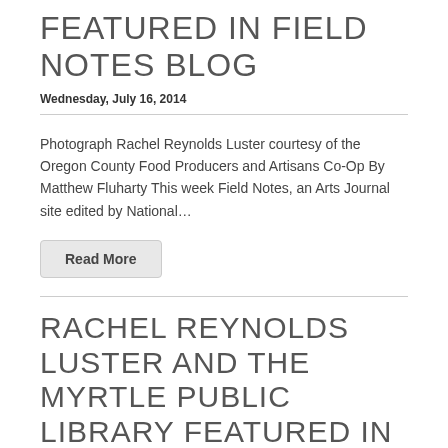FEATURED IN FIELD NOTES BLOG
Wednesday, July 16, 2014
Photograph Rachel Reynolds Luster courtesy of the Oregon County Food Producers and Artisans Co-Op By Matthew Fluharty This week Field Notes, an Arts Journal site edited by National…
Read More
RACHEL REYNOLDS LUSTER AND THE MYRTLE PUBLIC LIBRARY FEATURED IN RURAL